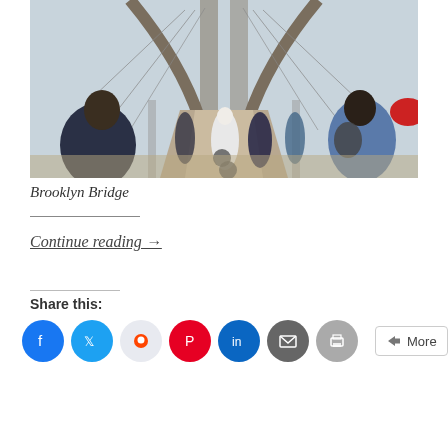[Figure (photo): People walking and cycling on the Brooklyn Bridge walkway, viewed from behind, with the bridge's Gothic arches and cables visible in the background.]
Brooklyn Bridge
Continue reading →
Share this: